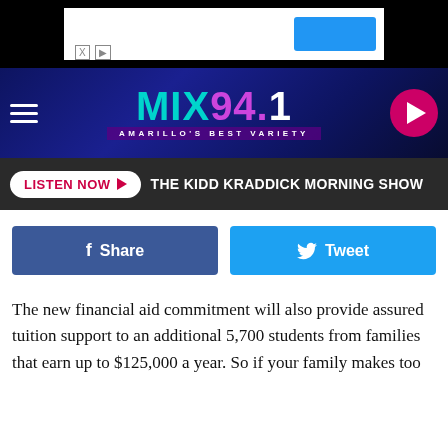[Figure (screenshot): Ad banner with white background, X and play icons, and a blue button on the right]
[Figure (logo): MIX 94.1 radio station logo with tagline AMARILLO'S BEST VARIETY on a dark blue starfield background, with hamburger menu and pink play button]
[Figure (screenshot): Listen Now button and THE KIDD KRADDICK MORNING SHOW text on dark background]
[Figure (screenshot): Facebook Share and Twitter Tweet buttons]
The new financial aid commitment will also provide assured tuition support to an additional 5,700 students from families that earn up to $125,000 a year. So if your family makes too